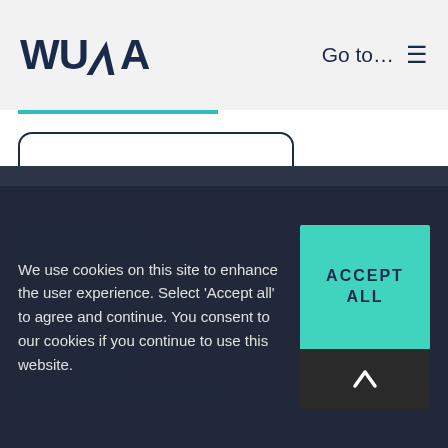WUSA  Go to...
MEDIA INQUIRIES
[Figure (other): Navigation/location arrow icon]
200 University Ave West
Student Life Centre, Room 1116
Waterloo ON
Canada N2L 6C1
Looking for Someone?
Check into Turnkey Desk for assistance.
We use cookies on this site to enhance the user experience. Select 'Accept all' to agree and continue. You consent to our cookies if you continue to use this website.
ACCEPT ALL